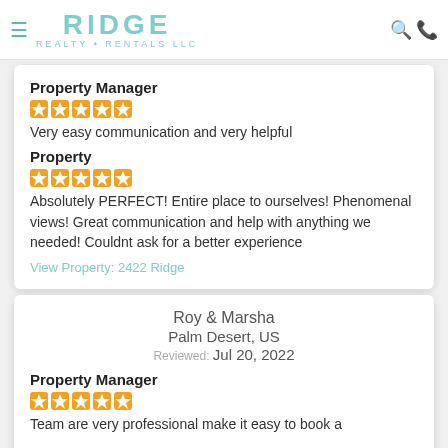RIDGE REALTY • RENTALS LLC
Property Manager
[Figure (other): 5 orange star rating icons]
Very easy communication and very helpful
Property
[Figure (other): 5 orange star rating icons]
Absolutely PERFECT! Entire place to ourselves! Phenomenal views! Great communication and help with anything we needed! Couldnt ask for a better experience
View Property: 2422 Ridge
Roy & Marsha
Palm Desert, US
Reviewed: Jul 20, 2022
Property Manager
[Figure (other): 5 orange star rating icons]
Team are very professional make it easy to book a